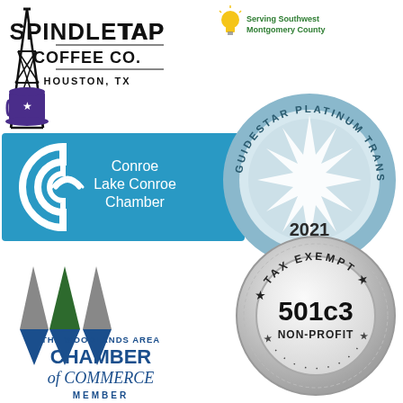[Figure (logo): SpindleTap Coffee Co. Houston, TX logo with oil derrick and coffee cup icon]
[Figure (logo): Serving Southwest Montgomery County logo with lightbulb icon]
[Figure (logo): Conroe Lake Conroe Chamber logo - blue rectangle with stylized C icon]
[Figure (logo): GuideStar Platinum Transparency 2021 circular seal badge in light blue]
[Figure (logo): The Woodlands Area Chamber of Commerce Member logo]
[Figure (logo): Tax Exempt 501c3 Non-Profit circular silver badge]